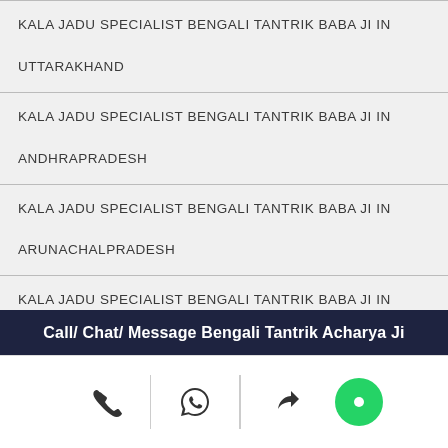KALA JADU SPECIALIST BENGALI TANTRIK BABA JI IN UTTARAKHAND
KALA JADU SPECIALIST BENGALI TANTRIK BABA JI IN ANDHRAPRADESH
KALA JADU SPECIALIST BENGALI TANTRIK BABA JI IN ARUNACHALPRADESH
KALA JADU SPECIALIST BENGALI TANTRIK BABA JI IN ASSAM
KALA JADU SPECIALIST BENGALI TANTRIK BABA JI IN
Call/ Chat/ Message Bengali Tantrik Acharya Ji
[Figure (infographic): Action bar with phone icon, WhatsApp icon, share/forward icon, and a green chat bubble icon]